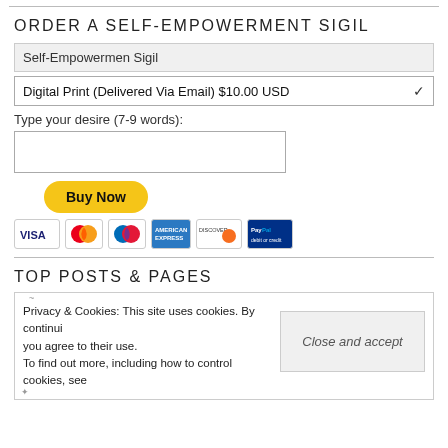ORDER A SELF-EMPOWERMENT SIGIL
Self-Empowermen Sigil
Digital Print (Delivered Via Email) $10.00 USD
Type your desire (7-9 words):
[Figure (screenshot): Buy Now button with PayPal styling and payment card icons (Visa, Mastercard, Amex, Discover, PayPal)]
TOP POSTS & PAGES
Privacy & Cookies: This site uses cookies. By continuing to use this website, you agree to their use. To find out more, including how to control cookies, see here:
Close and accept